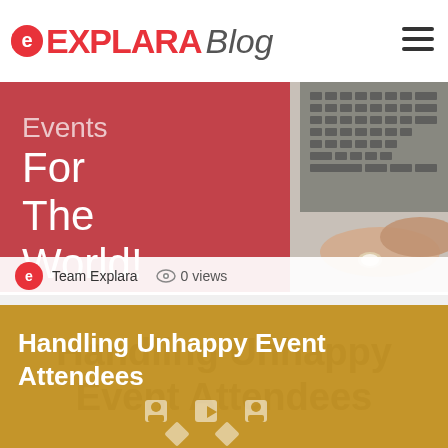EXPLARA Blog
[Figure (photo): Blog banner image showing a laptop with hands typing and a red overlay panel with text 'Events For The World!']
Team Explara   0 views
[Figure (photo): Gold/mustard background banner with title 'Handling Unhappy Event Attendees' and event icons watermark]